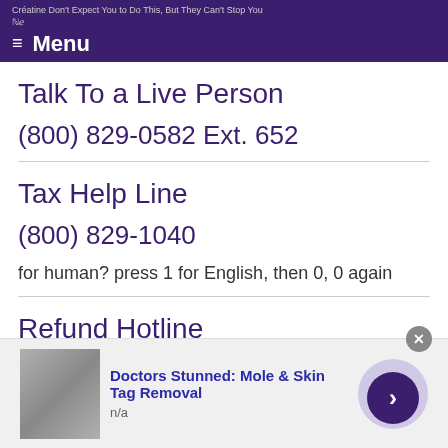Créatine Don't Expect You to Do This, But They Can't Stop You
ℕℯ
☰ Menu
Talk To a Live Person
(800) 829-0582 Ext. 652
Tax Help Line
(800) 829-1040
for human? press 1 for English, then 0, 0 again
Refund Hotline
[Figure (photo): Advertisement banner: Doctors Stunned: Mole & Skin Tag Removal, n/a, with a photo of a person using a tool near face]